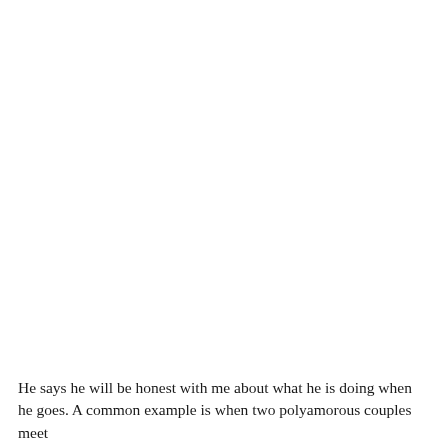He says he will be honest with me about what he is doing when he goes. A common example is when two polyamorous couples meet